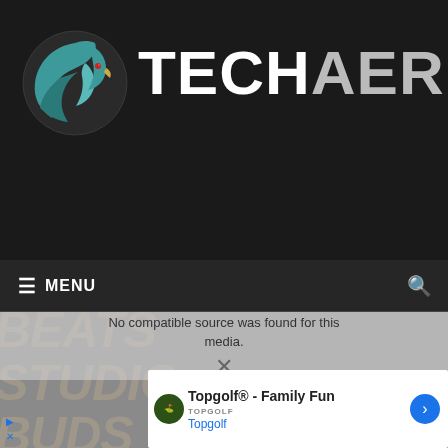[Figure (logo): Techaeris logo: teal eagle head icon on dark background with TECHAERIS text in white/grey]
≡ MENU
No compatible source was found for this media.
BEATS STUDIO BUDS OR AIRPODS PRO? (watermark)
Topgolf® - Family Fun
Topgolf